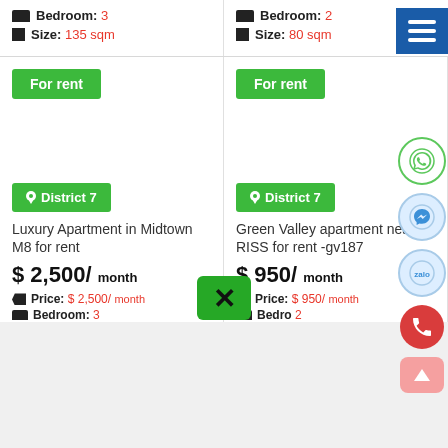Bedroom: 3
Size: 135 sqm
Bedroom: 2
Size: 80 sqm
For rent
For rent
District 7
District 7
Luxury Apartment in Midtown M8 for rent
$ 2,500/ month
Price: $ 2,500/ month
Bedroom: 3
Green Valley apartment near RISS for rent -gv187
$ 950/ month
Price: $ 950/ month
Bedroom: 2